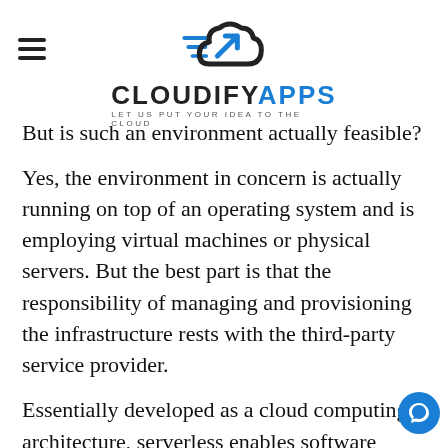CLOUDIFYAPPS — LET US PUT YOUR IDEA TO THE CLOUD
But is such an environment actually feasible?
Yes, the environment in concern is actually running on top of an operating system and is employing virtual machines or physical servers. But the best part is that the responsibility of managing and provisioning the infrastructure rests with the third-party service provider.
Essentially developed as a cloud computing architecture, serverless enables software developers to build and run codes without the need to monitor,